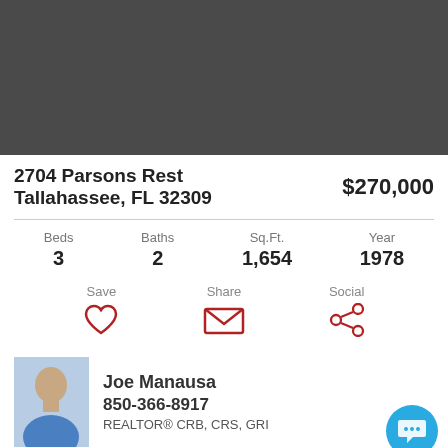[Figure (photo): Property photo placeholder — dark gray rectangle]
2704 Parsons Rest
Tallahassee, FL 32309
$270,000
Beds 3   Baths 2   Sq.Ft. 1,654   Year 1978
Save   Share   Social
Joe Manausa
850-366-8917
REALTOR® CRB, CRS, GRI